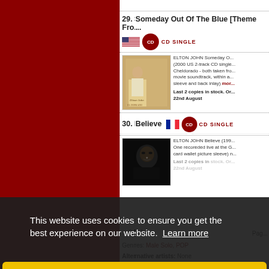29. Someday Out Of The Blue [Theme From El Dorado]
CD SINGLE (US)
[Figure (photo): Album cover for Elton John Someday Out Of The Blue - El Dorado themed image with figure in white]
ELTON JOHN Someday Out Of The Blue (2000 US 2-track CD single taken from El Dorado/Cheldorado - both taken from the movie soundtrack, within an picture sleeve and back inlay) more
Last 2 copies in stock. Order by 22nd August
30. Believe
CD SINGLE (France)
[Figure (photo): Black and white album cover for Elton John Believe - dark image with face]
ELTON JOHN Believe (199...) One recorded live at the G... card wallet picture sleeve) n...
Last 2 copies in stock. Order by 22nd August
This website uses cookies to ensure you get the best experience on our website. Learn more
Got it!
Genres: Male Solo, POP
Alternative artists: None